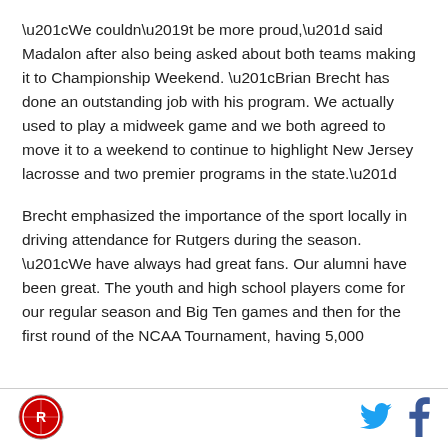“We couldn’t be more proud,” said Madalon after also being asked about both teams making it to Championship Weekend. “Brian Brecht has done an outstanding job with his program. We actually used to play a midweek game and we both agreed to move it to a weekend to continue to highlight New Jersey lacrosse and two premier programs in the state.”
Brecht emphasized the importance of the sport locally in driving attendance for Rutgers during the season. “We have always had great fans. Our alumni have been great. The youth and high school players come for our regular season and Big Ten games and then for the first round of the NCAA Tournament, having 5,000
[Figure (logo): Rutgers Athletics circular logo with red and white design]
[Figure (logo): Twitter bird icon in blue]
[Figure (logo): Facebook f icon in blue]